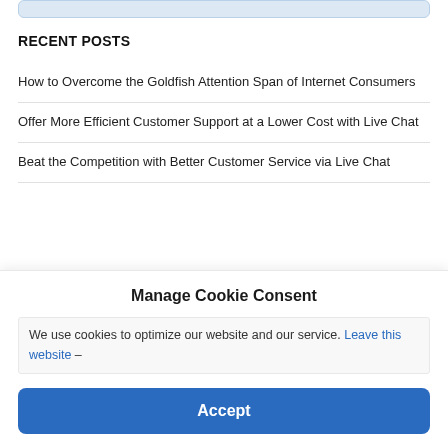RECENT POSTS
How to Overcome the Goldfish Attention Span of Internet Consumers
Offer More Efficient Customer Support at a Lower Cost with Live Chat
Beat the Competition with Better Customer Service via Live Chat
Manage Cookie Consent
We use cookies to optimize our website and our service. Leave this website –
Accept